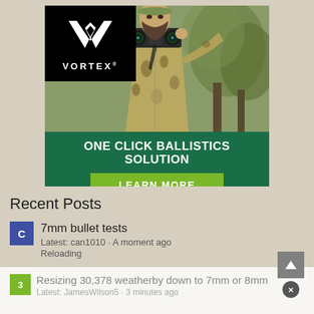[Figure (photo): Vortex Optics advertisement banner showing a bearded hunter in camouflage gear looking through binoculars, with Vortex logo in top-left corner, green banner reading ONE CLICK BALLISTICS SOLUTION and a LEARN MORE button.]
Recent Posts
7mm bullet tests
Latest: can1010 · A moment ago
Reloading
Resizing 30,378 weatherby down to 7mm or 8mm
Latest: JamesWilson5 · 3 minutes ago